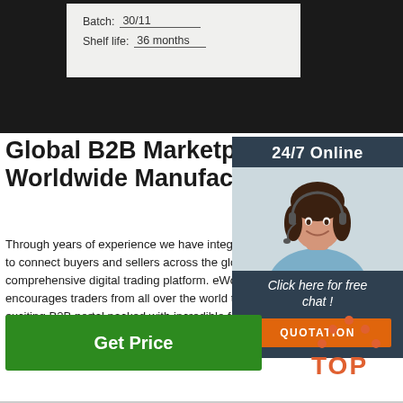[Figure (screenshot): Top portion showing a dark background with a white label card showing fields: 'Batch: 30/11' with underline and 'Shelf life: 36 months' with underline]
Global B2B Marketplace for Worldwide Manufacturers a...
Through years of experience we have integrated to connect buyers and sellers across the globe on comprehensive digital trading platform. eWorldTr... encourages traders from all over the world to be exciting B2B portal packed with incredible featur... connectivity of genuine buyers with wonderful se... transparent B2B platform with guaranteed ...
[Figure (infographic): Sidebar widget with dark blue-grey background. Header: '24/7 Online'. Photo of smiling woman wearing headset. Text: 'Click here for free chat !' Orange button: 'QUOTATION']
[Figure (other): Green 'Get Price' button]
[Figure (logo): TOP logo with orange dots arranged as an upward arrow above the word TOP in orange on dark background]